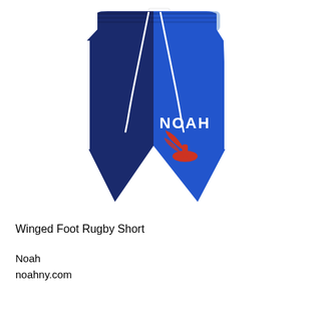[Figure (photo): A pair of rugby shorts split vertically down the middle — left half is navy blue, right half is royal blue — with a white drawstring waistband. The right side features 'NOAH' text in white and a red winged foot logo. White stripe along the right outer seam. A small label is visible at the center of the waistband.]
Winged Foot Rugby Short
Noah
noahny.com